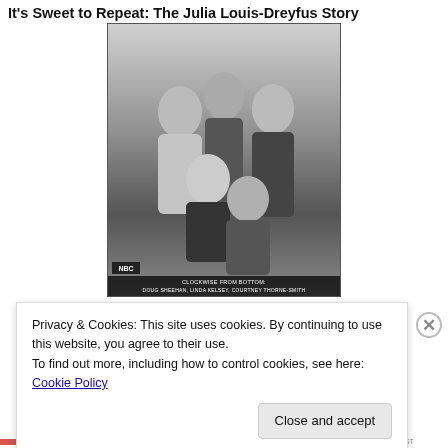It's Sweet to Repeat: The Julia Louis-Dreyfus Story
[Figure (photo): Black and white promotional group photo of five people — three in back row and two in front row. Bottom caption reads: CLOCKWISE FROM BOTTOM: DOUG SHEEHAN, LINDA KELSEY, COURTNEY THORNE-SMITH. Logo box in lower left reads: NBC.]
Privacy & Cookies: This site uses cookies. By continuing to use this website, you agree to their use.
To find out more, including how to control cookies, see here: Cookie Policy
Close and accept